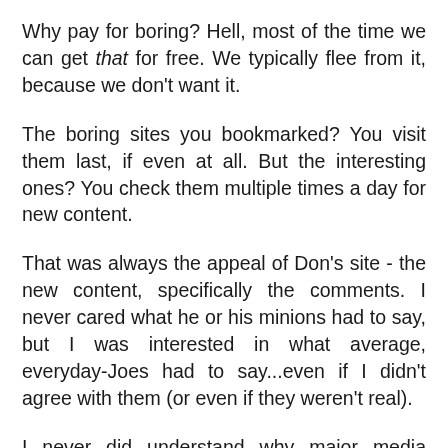Why pay for boring? Hell, most of the time we can get that for free. We typically flee from it, because we don't want it.
The boring sites you bookmarked? You visit them last, if even at all. But the interesting ones? You check them multiple times a day for new content.
That was always the appeal of Don's site - the new content, specifically the comments. I never cared what he or his minions had to say, but I was interested in what average, everyday-Joes had to say...even if I didn't agree with them (or even if they weren't real).
I never did understand why major media outlets got rid of comments, considering this is one of